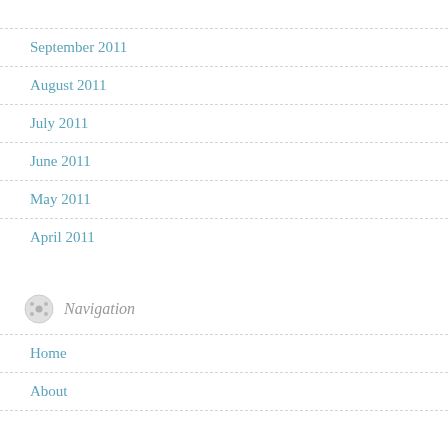September 2011
August 2011
July 2011
June 2011
May 2011
April 2011
Navigation
Home
About